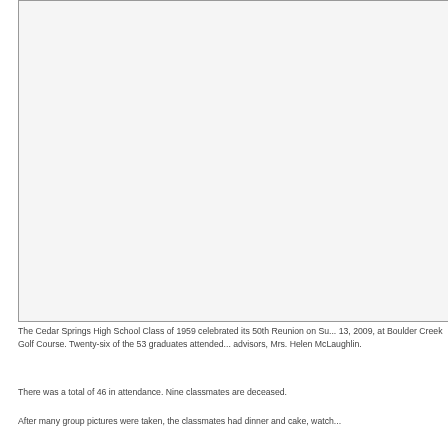[Figure (photo): Large photograph (white/blank area) showing a group reunion photo placeholder]
The Cedar Springs High School Class of 1959 celebrated its 50th Reunion on Su... 13, 2009, at Boulder Creek Golf Course. Twenty-six of the 53 graduates attended... advisors, Mrs. Helen McLaughlin.
There was a total of 46 in attendance. Nine classmates are deceased.
After many group pictures were taken, the classmates had dinner and cake, watch...